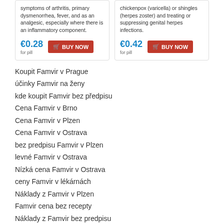[Figure (other): Two product cards side by side. Left card: text about symptoms of arthritis, primary dysmenorrhea, fever, and as an analgesic, especially where there is an inflammatory component. Price €0.28 for pill with red BUY NOW button. Right card: text about chickenpox (varicella) or shingles (herpes zoster) and treating or suppressing genital herpes infections. Price €0.42 for pill with red BUY NOW button.]
Koupit Famvir v Prague
účinky Famvir na ženy
kde koupit Famvir bez předpisu
Cena Famvir v Brno
Cena Famvir v Plzen
Cena Famvir v Ostrava
bez predpisu Famvir v Plzen
levné Famvir v Ostrava
Nízká cena Famvir v Ostrava
ceny Famvir v lékárnách
Náklady z Famvir v Plzen
Famvir cena bez recepty
Náklady z Famvir bez predpisu
Famvir prodej léků na předpis na internetu
Famvir prodej bez predpisu
generika Famvir
jak sehnat Famvir
Famvir online Cena
buy Desvenlafaxine
cheap Nimotop
buy Sildenafil